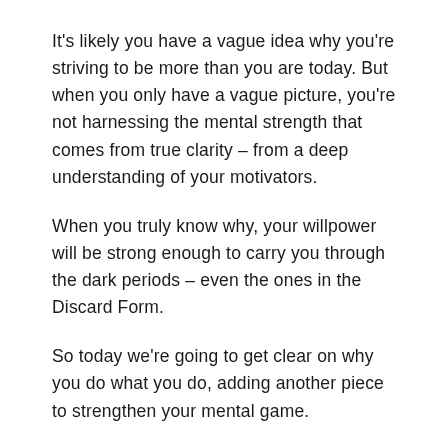It's likely you have a vague idea why you're striving to be more than you are today. But when you only have a vague picture, you're not harnessing the mental strength that comes from true clarity – from a deep understanding of your motivators.
When you truly know why, your willpower will be strong enough to carry you through the dark periods – even the ones in the Discard Form.
So today we're going to get clear on why you do what you do, adding another piece to strengthen your mental game.
We'll start by reviewing what you wrote in the initial goal-setting exercise.
In your workbook, read through the description you wrote of who you are today and then re-read the goal that